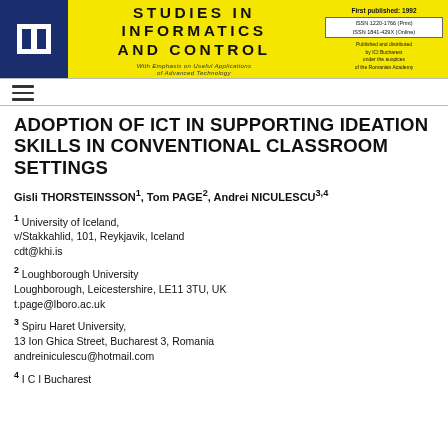STUDIES IN INFORMATICS AND CONTROL — First published: 1992 — ISSN 1220-1766 (Print) ISSN 1841-429X (Online) — Published and distributed by ICI Bucharest under the auspices of the Romanian Academy
ADOPTION OF ICT IN SUPPORTING IDEATION SKILLS IN CONVENTIONAL CLASSROOM SETTINGS
Gisli THORSTEINSSON1, Tom PAGE2, Andrei NICULESCU3,4
1 University of Iceland,
v/Stakkahlid, 101, Reykjavik, Iceland
cdt@khi.is
2 Loughborough University
Loughborough, Leicestershire, LE11 3TU, UK
t.page@lboro.ac.uk
3 Spiru Haret University,
13 Ion Ghica Street, Bucharest 3, Romania
andreiniculescu@hotmail.com
4 I C I Bucharest